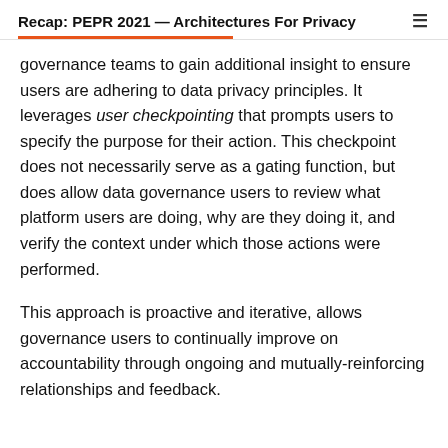Recap: PEPR 2021 — Architectures For Privacy
governance teams to gain additional insight to ensure users are adhering to data privacy principles. It leverages user checkpointing that prompts users to specify the purpose for their action. This checkpoint does not necessarily serve as a gating function, but does allow data governance users to review what platform users are doing, why are they doing it, and verify the context under which those actions were performed.
This approach is proactive and iterative, allows governance users to continually improve on accountability through ongoing and mutually-reinforcing relationships and feedback.